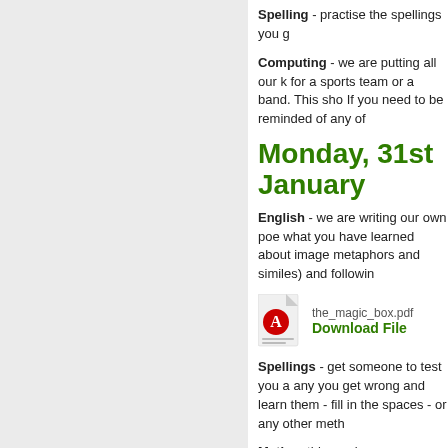Spelling - practise the spellings you g
Computing - we are putting all our k for a sports team or a band. This sho If you need to be reminded of any of
Monday, 31st January
English - we are writing our own poe what you have learned about image metaphors and similes) and followin
[Figure (other): PDF file icon for the_magic_box.pdf with a red Adobe Acrobat logo]
the_magic_box.pdf
Download File
Spellings - get someone to test you a any you get wrong and learn them - fill in the spaces - or any other meth
Maths - this week we are looking at them with as much accuracy as possi 1000 grams in a kilogram, have a go at the domino game belo join them to arrive in the right o